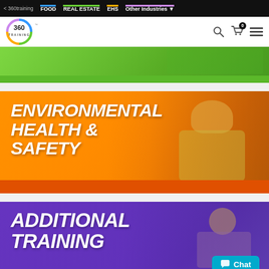< 360training  FOOD  REAL ESTATE  EHS  Other Industries
[Figure (logo): 360training logo - circular logo with '360' text and 'TRAINING' below]
[Figure (photo): Green banner with person in construction/food safety environment]
[Figure (photo): Environmental Health & Safety orange/amber banner with construction worker wearing hard hat and safety vest]
ENVIRONMENTAL HEALTH & SAFETY
[Figure (photo): Additional Training purple banner with person at laptop]
ADDITIONAL TRAINING
Chat